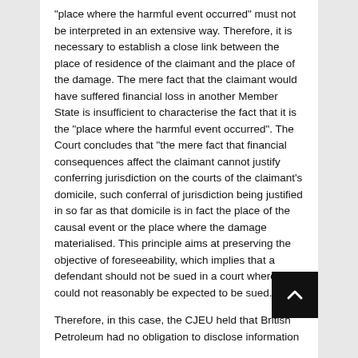“place where the harmful event occurred” must not be interpreted in an extensive way. Therefore, it is necessary to establish a close link between the place of residence of the claimant and the place of the damage. The mere fact that the claimant would have suffered financial loss in another Member State is insufficient to characterise the fact that it is the “place where the harmful event occurred”. The Court concludes that “the mere fact that financial consequences affect the claimant cannot justify conferring jurisdiction on the courts of the claimant’s domicile, such conferral of jurisdiction being justified in so far as that domicile is in fact the place of the causal event or the place where the damage materialised. This principle aims at preserving the objective of foreseeability, which implies that a defendant should not be sued in a court where he could not reasonably be expected to be sued.
Therefore, in this case, the CJEU held that British Petroleum had no obligation to disclose information